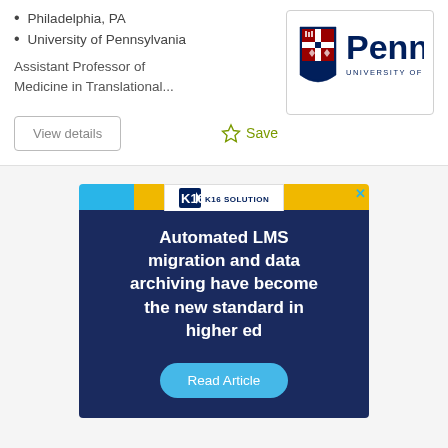Philadelphia, PA
University of Pennsylvania
Assistant Professor of Medicine in Translational...
View details
Save
[Figure (logo): University of Pennsylvania Penn shield logo]
[Figure (infographic): K16 Solutions advertisement banner. Dark navy background with yellow and blue accent tabs. Headline: Automated LMS migration and data archiving have become the new standard in higher ed. Read Article button in blue.]